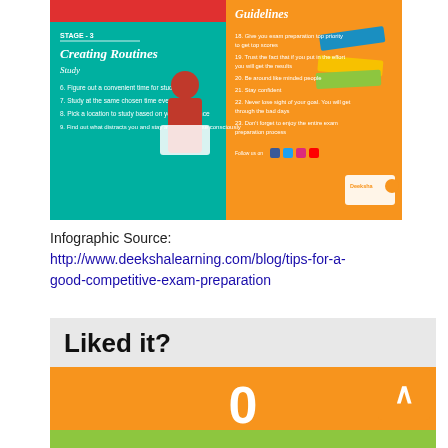[Figure (infographic): An infographic about exam preparation tips showing Stage 3: Creating Routines (Study) with tips 6-9 on the left teal/green panel, and Guidelines tips 18-23 on the right orange panel with directional signs graphic. Deeksha logo at bottom right.]
Infographic Source: http://www.deekshalearning.com/blog/tips-for-a-good-competitive-exam-preparation
Liked it?
0
Rate and Share it!
Please feel free to share this infographic in your blogs, websites and social media!